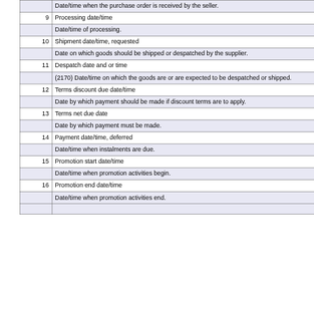| # | Term / Description |
| --- | --- |
|  | Date/time when the purchase order is received by the seller. |
| 9 | Processing date/time |
|  | Date/time of processing. |
| 10 | Shipment date/time, requested |
|  | Date on which goods should be shipped or despatched by the supplier. |
| 11 | Despatch date and or time |
|  | (2170) Date/time on which the goods are or are expected to be despatched or shipped. |
| 12 | Terms discount due date/time |
|  | Date by which payment should be made if discount terms are to apply. |
| 13 | Terms net due date |
|  | Date by which payment must be made. |
| 14 | Payment date/time, deferred |
|  | Date/time when instalments are due. |
| 15 | Promotion start date/time |
|  | Date/time when promotion activities begin. |
| 16 | Promotion end date/time |
|  | Date/time when promotion activities end. |
|  |  |